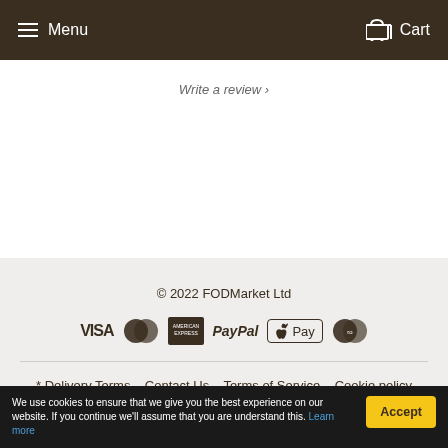≡ Menu   Cart
Write a review ›
© 2022 FODMarket Ltd
[Figure (logo): Payment method logos: VISA, MasterCard, American Express, PayPal, Apple Pay, Maestro]
* Delivery Terms   Contact Us   Terms of Service   Cookie policy   Affiliates   Icons
We use cookies to ensure that we give you the best experience on our website. If you continue we'll assume that you are understand this. Learn more